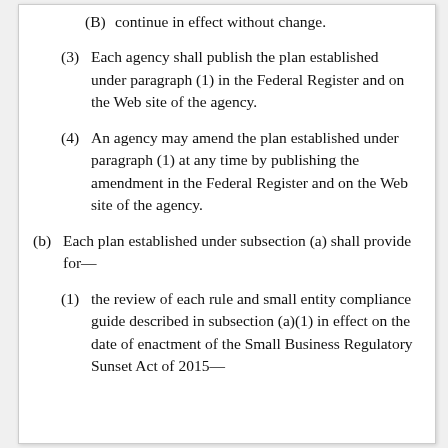(B) continue in effect without change.
(3) Each agency shall publish the plan established under paragraph (1) in the Federal Register and on the Web site of the agency.
(4) An agency may amend the plan established under paragraph (1) at any time by publishing the amendment in the Federal Register and on the Web site of the agency.
(b) Each plan established under subsection (a) shall provide for—
(1) the review of each rule and small entity compliance guide described in subsection (a)(1) in effect on the date of enactment of the Small Business Regulatory Sunset Act of 2015—